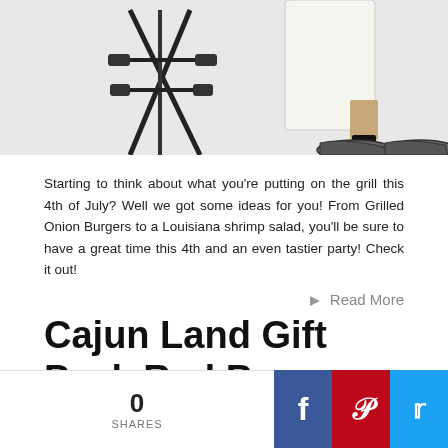[Figure (illustration): Partial illustration of a person's lower body near a grill or barbecue equipment, showing legs, shoes, and what appears to be a grill stand on a gray background]
Starting to think about what you're putting on the grill this 4th of July? Well we got some ideas for you! From Grilled Onion Burgers to a Louisiana shrimp salad, you'll be sure to have a great time this 4th and an even tastier party! Check it out!
Read More
Cajun Land Gift Pack Red Beans Recipe!
Posted by Kyle Beerbohm on 6/15/2015 to New Orleans Famous Red Beans